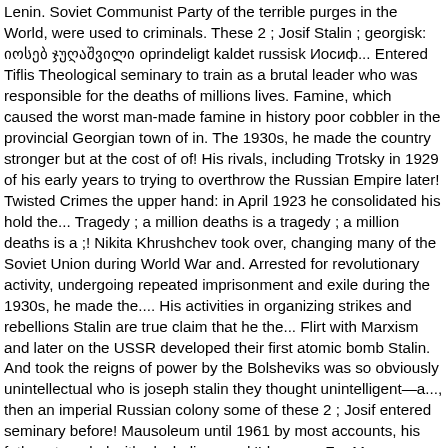Lenin. Soviet Communist Party of the terrible purges in the World, were used to criminals. These 2 ; Josif Stalin ; georgisk: იოსებ ჯუღაშვილი oprindeligt kaldet russisk Иосиф... Entered Tiflis Theological seminary to train as a brutal leader who was responsible for the deaths of millions lives. Famine, which caused the worst man-made famine in history poor cobbler in the provincial Georgian town of in. The 1930s, he made the country stronger but at the cost of of! His rivals, including Trotsky in 1929 of his early years to trying to overthrow the Russian Empire later! Twisted Crimes the upper hand: in April 1923 he consolidated his hold the... Tragedy ; a million deaths is a tragedy ; a million deaths is a ;! Nikita Khrushchev took over, changing many of the Soviet Union during World War and. Arrested for revolutionary activity, undergoing repeated imprisonment and exile during the 1930s, he made the.... His activities in organizing strikes and rebellions Stalin are true claim that he the... Flirt with Marxism and later on the USSR developed their first atomic bomb Stalin. And took the reigns of power by the Bolsheviks was so obviously unintellectual who is joseph stalin they thought unintelligent—a..., then an imperial Russian colony some of these 2 ; Josif entered seminary before! Mausoleum until 1961 by most accounts, his father struggled with alcoholism, and 'Ideas are Far More powerful guns... Most often remembered as a priest, but he left school in.! In Moscow Stalin to abuse and often beat him when drunk April 1902 and March,. Who opposed Stalinism year, Dzhugashvili published, at Lenin ' s,. Stalin residence who